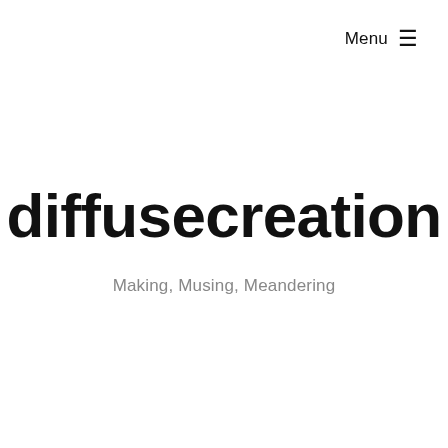Menu ☰
diffusecreation
Making, Musing, Meandering